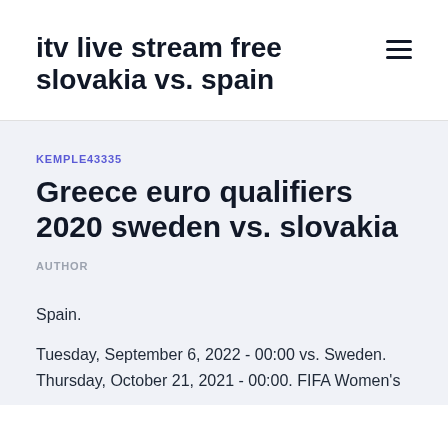itv live stream free slovakia vs. spain
KEMPLE43335
Greece euro qualifiers 2020 sweden vs. slovakia
AUTHOR
Spain.
Tuesday, September 6, 2022 - 00:00 vs. Sweden. Thursday, October 21, 2021 - 00:00. FIFA Women's